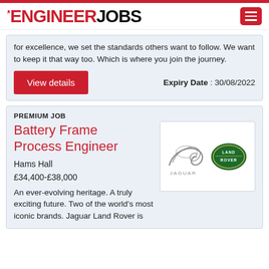THE ENGINEER JOBS
for excellence, we set the standards others want to follow. We want to keep it that way too. Which is where you join the journey.
Expiry Date : 30/08/2022
View details
PREMIUM JOB
Battery Frame Process Engineer
Hams Hall
£34,400-£38,000
An ever-evolving heritage. A truly exciting future. Two of the world's most iconic brands. Jaguar Land Rover is